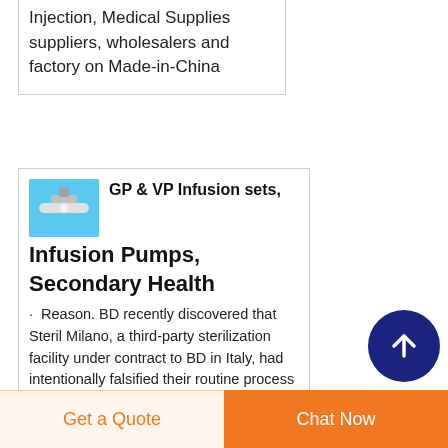Injection, Medical Supplies suppliers, wholesalers and factory on Made-in-China
[Figure (photo): Product thumbnail showing an infusion set device on blue background]
GP & VP Infusion sets, Infusion Pumps, Secondary Health
· Reason. BD recently discovered that Steril Milano, a third-party sterilization facility under contract to BD in Italy, had intentionally falsified their routine process records and are suspected to have
[Figure (other): Scroll to top button - dark blue circle with upward arrow]
Get a Quote
Chat Now